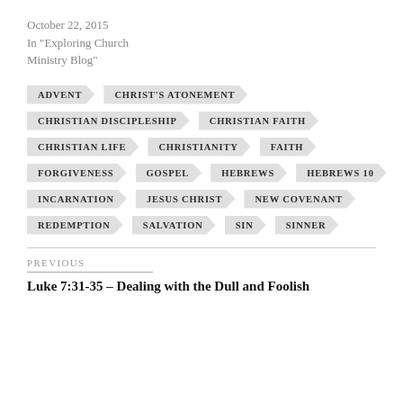October 22, 2015
In "Exploring Church Ministry Blog"
ADVENT
CHRIST'S ATONEMENT
CHRISTIAN DISCIPLESHIP
CHRISTIAN FAITH
CHRISTIAN LIFE
CHRISTIANITY
FAITH
FORGIVENESS
GOSPEL
HEBREWS
HEBREWS 10
INCARNATION
JESUS CHRIST
NEW COVENANT
REDEMPTION
SALVATION
SIN
SINNER
PREVIOUS
Luke 7:31-35 – Dealing with the Dull and Foolish